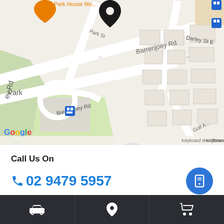[Figure (map): Google Maps screenshot showing Barrenjoey Rd area in Mona Vale, with Park&Ride - Mona Vale marker, 7-Eleven Mona Vale marker, bus stop icons, and Golf Ave visible. Map data ©2022. Keyboard shortcuts and Terms of Use links shown.]
Call Us On
02 9479 5957
Address